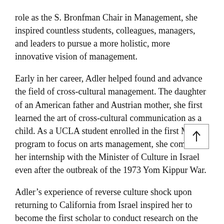role as the S. Bronfman Chair in Management, she inspired countless students, colleagues, managers, and leaders to pursue a more holistic, more innovative vision of management.
Early in her career, Adler helped found and advance the field of cross-cultural management. The daughter of an American father and Austrian mother, she first learned the art of cross-cultural communication as a child. As a UCLA student enrolled in the first MBA program to focus on arts management, she completed her internship with the Minister of Culture in Israel even after the outbreak of the 1973 Yom Kippur War.
Adler’s experience of reverse culture shock upon returning to California from Israel inspired her to become the first scholar to conduct research on the re-entry of expatriate managers and their families back into their home countries and organizations after assignments abroad. Many people today are facing a similar transition as they leave the foreignness of the pandemic’s lockdown culture to return to a more familiar way of life, Adler notes.